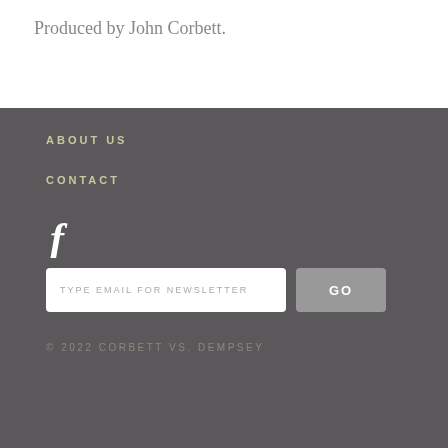Produced by John Corbett.
ABOUT US
CONTACT
[Figure (illustration): Facebook icon (stylized letter f in white)]
TYPE EMAIL FOR NEWSLETTER  GO
© 2022 CORBETT VS. DEMPSEY